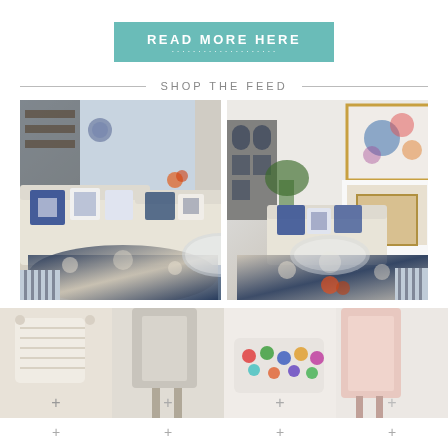[Figure (other): Teal/turquoise button with text READ MORE HERE and a subtitle line]
SHOP THE FEED
[Figure (photo): Two living room photos side by side showing blue and white patterned rugs, cream sofas with blue and white decorative pillows]
[Figure (photo): Bottom product grid showing pillows and decorative items with plus (+) icons for shopping]